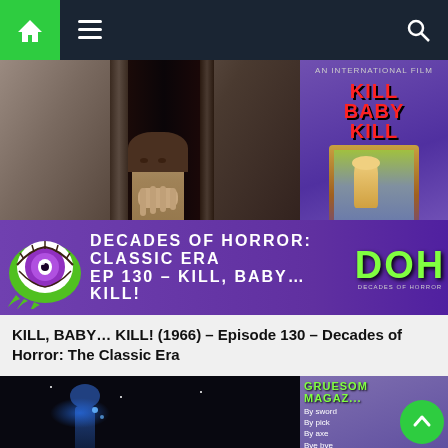Navigation bar with home, menu, and search icons
[Figure (screenshot): Banner image for 'Kill, Baby... Kill!' episode 130, showing a film still of a woman peering through a doorway, a movie poster for Kill Baby Kill, and an overlay strip with Decades of Horror: Classic Era logo and text]
KILL, BABY... KILL! (1966) – Episode 130 – Decades of Horror: The Classic Era
[Figure (screenshot): Partial banner for second article showing a dark movie scene and Gruesom Magazine cover with text 'By sword By pick By axe Bye bye' and a back-to-top button]